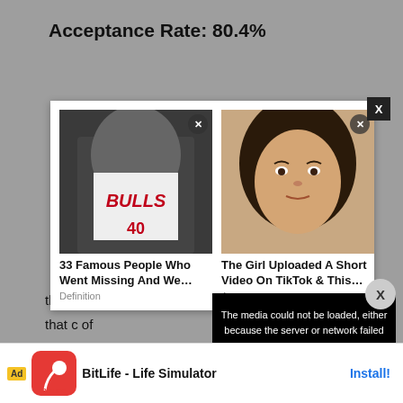Acceptance Rate: 80.4%
[Figure (screenshot): Modal overlay showing two ad cards: '33 Famous People Who Went Missing And We...' from Definition (with a man in a Bulls jersey), and 'The Girl Uploaded A Short Video On TikTok & This...' from Appurse (with a girl's face). Also a black media error overlay reading 'The media could not be loaded, either because the server or network failed or because the format is not supported.']
that c... to that c... of
[Figure (screenshot): Bottom banner ad for BitLife - Life Simulator with Install button]